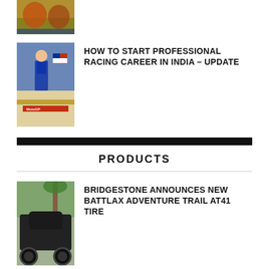[Figure (photo): Cropped top image of motorcycle racers on track (partially visible)]
[Figure (photo): MotoGP race podium celebration with riders in racing suits]
HOW TO START PROFESSIONAL RACING CAREER IN INDIA – UPDATE
PRODUCTS
[Figure (photo): Motorcycle (adventure bike) with Bridgestone tire on track]
BRIDGESTONE ANNOUNCES NEW BATTLAX ADVENTURE TRAIL AT41 TIRE
DECATHLON 2-SECONDS EASY TENT